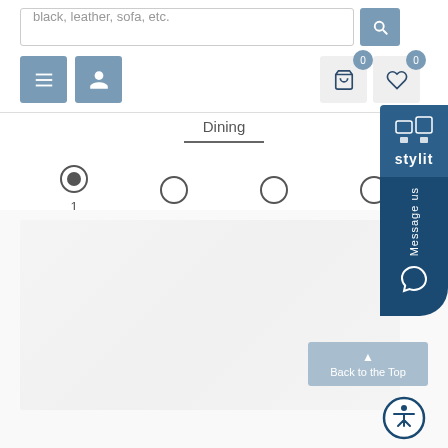[Figure (screenshot): E-commerce furniture website screenshot showing a search bar with placeholder text 'black, leather, sofa, etc.', navigation buttons (menu and user icon), cart and wishlist icons with badge count 0, a 'Dining' category tab with underline, radio button pagination showing option 1 selected, faint product image area, 'Back to the Top' button, accessibility icon, and 'stylit' brand overlay with 'Message us' chat button.]